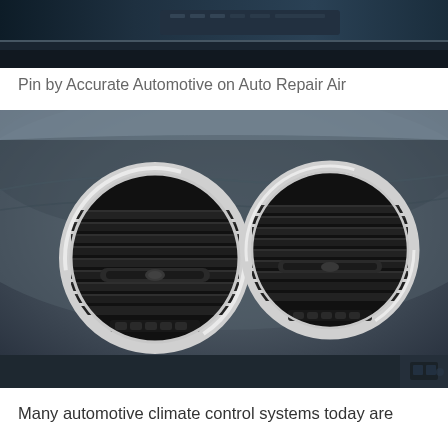[Figure (photo): Partial top view of a car interior showing the dashboard and audio/climate controls from above, in dark tones.]
Pin by Accurate Automotive on Auto Repair Air
[Figure (photo): Close-up photo of two circular silver-rimmed air conditioning vents on a dark grey car dashboard, with horizontal slats and directional controls visible inside each vent.]
Many automotive climate control systems today are